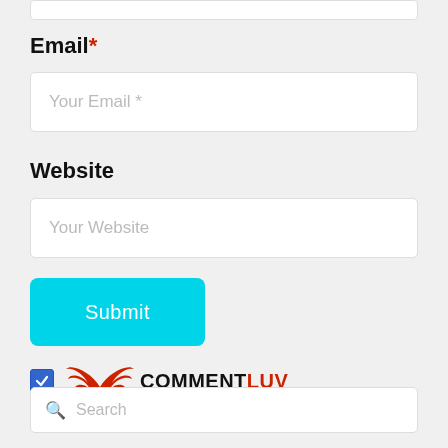(partial input field at top, cropped)
Email *
Your Email *
Website
Your Website
Submit
[Figure (logo): CommentLuv logo with checkbox checked, bird/wings icon in red, text COMMENT in dark and LUV in red]
Search